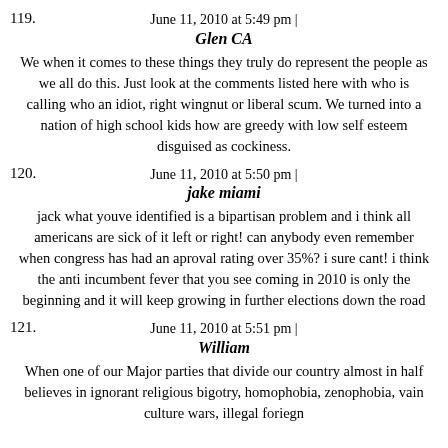June 11, 2010 at 5:49 pm |
Glen CA
We when it comes to these things they truly do represent the people as we all do this. Just look at the comments listed here with who is calling who an idiot, right wingnut or liberal scum. We turned into a nation of high school kids how are greedy with low self esteem disguised as cockiness.
June 11, 2010 at 5:50 pm |
jake miami
jack what youve identified is a bipartisan problem and i think all americans are sick of it left or right! can anybody even remember when congress has had an aproval rating over 35%? i sure cant! i think the anti incumbent fever that you see coming in 2010 is only the beginning and it will keep growing in further elections down the road
June 11, 2010 at 5:51 pm |
William
When one of our Major parties that divide our country almost in half believes in ignorant religious bigotry, homophobia, zenophobia, vain culture wars, illegal foriegn